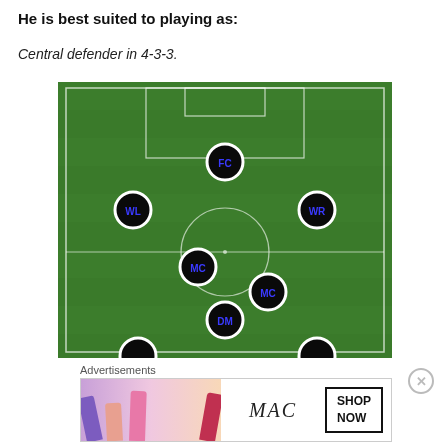He is best suited to playing as:
Central defender in 4-3-3.
[Figure (illustration): Soccer/football pitch diagram showing a 4-3-3 formation with player position tokens labeled: FC (forward center), WL (wing left), WR (wing right), MC (midfield center x2), DM (defensive midfielder), and two partially visible defenders at the bottom.]
Advertisements
[Figure (other): MAC Cosmetics advertisement banner with lipstick products on left and SHOP NOW call to action on right.]